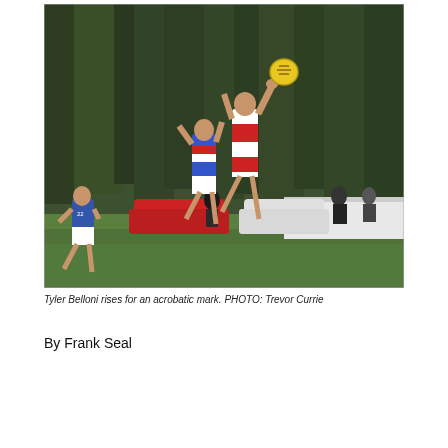[Figure (photo): An Australian rules football match scene. Two players leap high for the ball — one in a red and white guernsey reaching highest, another in a blue, red and white Bulldogs guernsey. A third player in blue and white runs in from the left wearing number 22. Background shows tall dark green trees, spectators, parked cars including a red car and a white car, and a white fence/boundary. Grass ground. Yellow round ball visible at top of jump.]
Tyler Belloni rises for an acrobatic mark. PHOTO: Trevor Currie
By Frank Seal